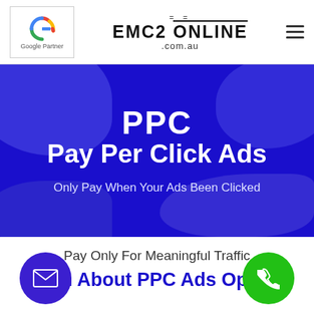[Figure (logo): Google Partner logo with colored G icon in a bordered box]
EMC2 ONLINE .com.au
[Figure (other): Hamburger menu icon (three horizontal lines)]
[Figure (infographic): Blue hero banner with blob shapes background containing PPC Pay Per Click Ads headline and subheadline]
PPC
Pay Per Click Ads
Only Pay When Your Ads Been Clicked
Pay Only For Meaningful Traffic
Learn About PPC Ads Options
[Figure (other): Purple circular email/envelope floating button]
[Figure (other): Green circular phone floating button]